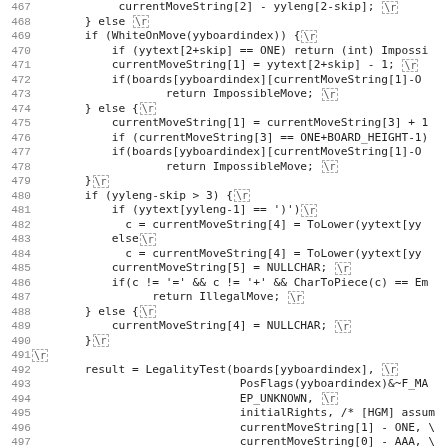[Figure (screenshot): Source code listing showing lines 467-499 of a C/C++ chess engine file. Code includes conditional logic for move validation using yytext, currentMoveString, WhiteOnMove, LegalityTest, and related chess programming constructs. Each line has a line number on the left and ends with a \r carriage return marker in a dashed box.]